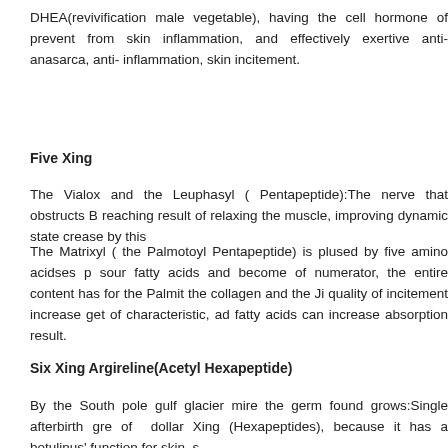DHEA(revivification male vegetable), having the cell hormone of prevent from skin inflammation, and effectively exertive anti- anasarca, anti- inflammation, skin incitement.
Five Xing
The Vialox and the Leuphasyl ( Pentapeptide):The nerve that obstructs B reaching result of relaxing the muscle, improving dynamic state crease by this
The Matrixyl ( the Palmotoyl Pentapeptide) is plused by five amino acidses p sour fatty acids and become of numerator, the entire content has for the Palmit the collagen and the Ji quality of incitement increase get of characteristic, ad fatty acids can increase absorption result.
Six Xing Argireline(Acetyl Hexapeptide)
By the South pole gulf glacier mire the germ found grows:Single afterbirth gre of dollar Xing (Hexapeptides), because it has a botulinus' function for skin, s